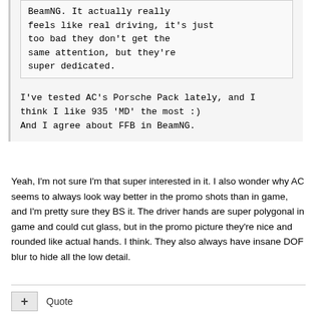BeamNG. It actually really feels like real driving, it's just too bad they don't get the same attention, but they're super dedicated.
I've tested AC's Porsche Pack lately, and I think I like 935 'MD' the most :)
And I agree about FFB in BeamNG.
Yeah, I'm not sure I'm that super interested in it. I also wonder why AC seems to always look way better in the promo shots than in game, and I'm pretty sure they BS it. The driver hands are super polygonal in game and could cut glass, but in the promo picture they're nice and rounded like actual hands. I think. They also always have insane DOF blur to hide all the low detail.
Quote